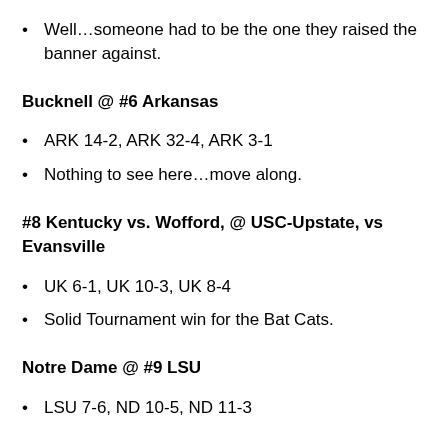Well…someone had to be the one they raised the banner against.
Bucknell @ #6 Arkansas
ARK 14-2, ARK 32-4, ARK 3-1
Nothing to see here…move along.
#8 Kentucky vs. Wofford, @ USC-Upstate, vs Evansville
UK 6-1, UK 10-3, UK 8-4
Solid Tournament win for the Bat Cats.
Notre Dame @ #9 LSU
LSU 7-6, ND 10-5, ND 11-3